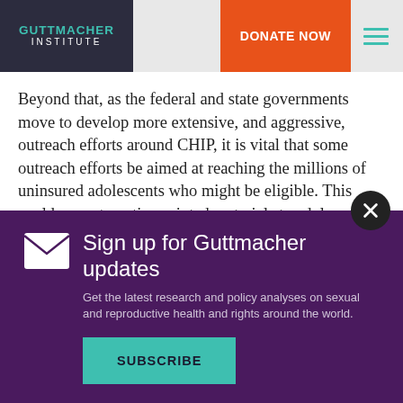GUTTMACHER INSTITUTE
Beyond that, as the federal and state governments move to develop more extensive, and aggressive, outreach efforts around CHIP, it is vital that some outreach efforts be aimed at reaching the millions of uninsured adolescents who might be eligible. This could mean targeting printed materials to adolescents, making information available at places frequented by
Sign up for Guttmacher updates
Get the latest research and policy analyses on sexual and reproductive health and rights around the world.
SUBSCRIBE